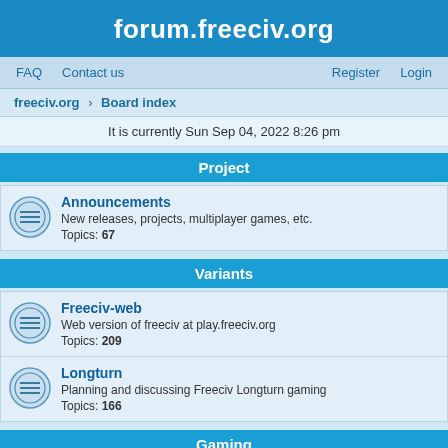forum.freeciv.org
FAQ   Contact us   Register   Login
freeciv.org › Board index
It is currently Sun Sep 04, 2022 8:26 pm
Project
Announcements
New releases, projects, multiplayer games, etc.
Topics: 67
Variants
Freeciv-web
Web version of freeciv at play.freeciv.org
Topics: 209
Longturn
Planning and discussing Freeciv Longturn gaming
Topics: 166
Gaming
Multiplayer / Online gaming
Join us, meet players from all around the world, challenge the strongest top players, practice and be one of them!
Topics: 66